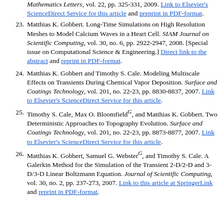(partial) ...Mathematics Letters, vol. 22, pp. 325-331, 2009. Link to Elsevier's ScienceDirect Service for this article and preprint in PDF-format.
23. Matthias K. Gobbert. Long-Time Simulations on High Resolution Meshes to Model Calcium Waves in a Heart Cell. SIAM Journal on Scientific Computing, vol. 30, no. 6, pp. 2922-2947, 2008. [Special issue on Computational Science & Engineering.] Direct link to the abstract and reprint in PDF-format.
24. Matthias K. Gobbert and Timothy S. Cale. Modeling Multiscale Effects on Transients During Chemical Vapor Deposition. Surface and Coatings Technology, vol. 201, no. 22-23, pp. 8830-8837, 2007. Link to Elsevier's ScienceDirect Service for this article.
25. Timothy S. Cale, Max O. Bloomfield^G, and Matthias K. Gobbert. Two Deterministic Approaches to Topography Evolution. Surface and Coatings Technology, vol. 201, no. 22-23, pp. 8873-8877, 2007. Link to Elsevier's ScienceDirect Service for this article.
26. Matthias K. Gobbert, Samuel G. Webster^G, and Timothy S. Cale. A Galerkin Method for the Simulation of the Transient 2-D/2-D and 3-D/3-D Linear Boltzmann Equation. Journal of Scientific Computing, vol. 30, no. 2, pp. 237-273, 2007. Link to this article at SpringerLink and reprint in PDF-format.